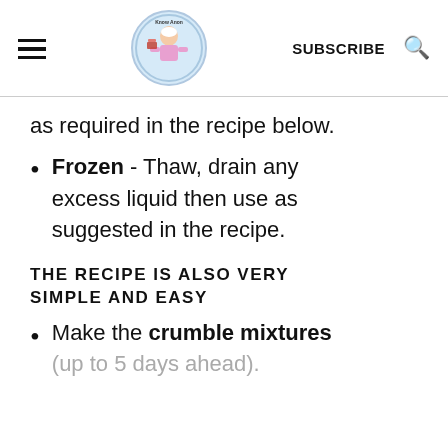SUBSCRIBE
as required in the recipe below.
Frozen - Thaw, drain any excess liquid then use as suggested in the recipe.
THE RECIPE IS ALSO VERY SIMPLE AND EASY
Make the crumble mixtures (up to 5 days ahead).